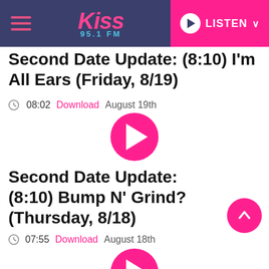Kiss 95.1 FM — LISTEN
Second Date Update: (8:10) I'm All Ears (Friday, 8/19)
08:02  Download  August 19th
[Figure (other): Pink circular play button]
Second Date Update: (8:10) Bump N' Grind? (Thursday, 8/18)
07:55  Download  August 18th
[Figure (other): Pink circular play button]
Second Date Update: (8:10) Pulled It